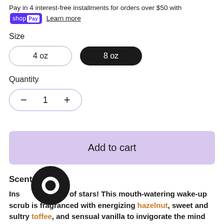Pay in 4 interest-free installments for orders over $50 with shop Pay Learn more
Size
4 oz   8 oz
Quantity
- 1 +
Add to cart
Scent
Ins[pire] your cup of stars! This mouth-watering wake-up scrub is fragranced with energizing hazelnut, sweet and sultry toffee, and sensual vanilla to invigorate the mind and